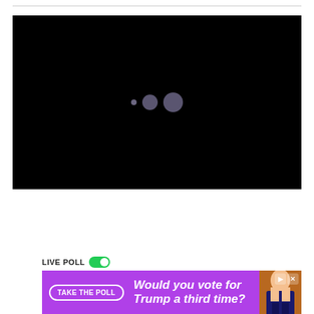[Figure (screenshot): Black video player with loading spinner showing three dots of increasing size in the center]
[Figure (screenshot): Advertisement banner with purple background showing 'LIVE POLL' toggle and text 'Would you vote for Trump a third time?' with a photo of a person and 'TAKE THE POLL' button]